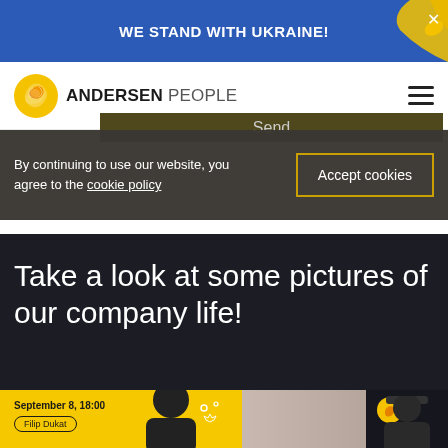WE STAND WITH UKRAINE!
[Figure (logo): Andersen People logo with yellow sun/leaf icon and text ANDERSEN PEOPLE]
Send
By continuing to use our website, you agree to the cookie policy
Accept cookies
Take a look at some pictures of our company life!
[Figure (photo): Yellow event card with date September 8, 18:00 and name Filip Dukat, person silhouette visible]
[Figure (photo): Grey/beige background photo with person, and dark partial panel on right with Andersen logo and person in hat]